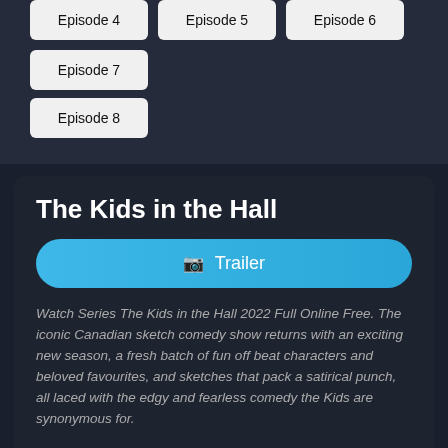Episode 4
Episode 5
Episode 6
Episode 7
Episode 8
The Kids in the Hall
▶ Trailer
Watch Series The Kids in the Hall 2022 Full Online Free. The iconic Canadian sketch comedy show returns with an exciting new season, a fresh batch of fun off beat characters and beloved favourites, and sketches that pack a satirical punch, all laced with the edgy and fearless comedy the Kids are synonymous for.
Genre: Comedy
Director: Bruce McCulloch, Dave Foley, Kevin McDonald, Mark McKinney, Scott Thompson
Actors: Bruce McCulloch, Dave Foley, Kevin McDonald, Mark McKinney, Scott Thompson
Studio: Broadway Video, Project 10 Productions
TV Status: Returning Series